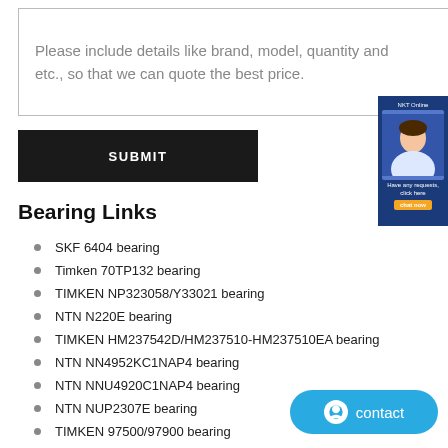Please include details like brand, model, quantity and etc., so that we can quote the best price.
SUBMIT
Bearing Links
SKF 6404 bearing
Timken 70TP132 bearing
TIMKEN NP323058/Y33021 bearing
NTN N220E bearing
TIMKEN HM237542D/HM237510-HM237510EA bearing
NTN NN4952KC1NAP4 bearing
NTN NNU4920C1NAP4 bearing
NTN NUP2307E bearing
TIMKEN 97500/97900 bearing
TIMKEN 22344YMB bearing
IKO NBXI1730 bearing
KOYO NKS75 bearing